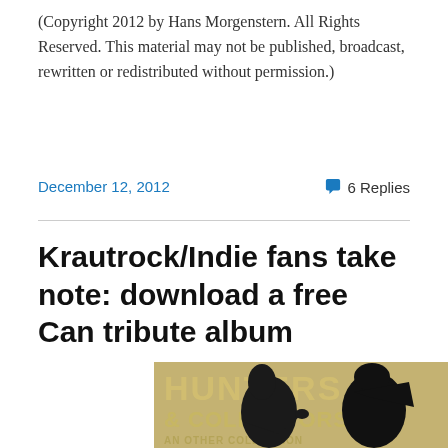(Copyright 2012 by Hans Morgenstern. All Rights Reserved. This material may not be published, broadcast, rewritten or redistributed without permission.)
December 12, 2012   💬 6 Replies
Krautrock/Indie fans take note: download a free Can tribute album
[Figure (photo): Album cover showing 'HUNTERS & COLLECTORS' text with stylized black silhouette figures on a sepia/tan background]